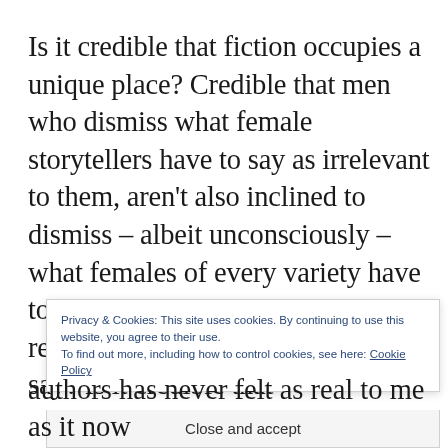Is it credible that fiction occupies a unique place? Credible that men who dismiss what female storytellers have to say as irrelevant to them, aren't also inclined to dismiss – albeit unconsciously – what females of every variety have to say?  To think it somehow less relevant than what the other men say? Is it credible that t
Privacy & Cookies: This site uses cookies. By continuing to use this website, you agree to their use.
To find out more, including how to control cookies, see here: Cookie Policy
Close and accept
authors has never felt as real to me as it now